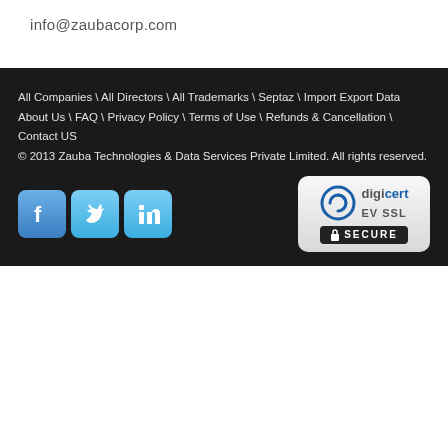info@zaubacorp.com
All Companies \ All Directors \ All Trademarks \ Septaz \ Import Export Data
About Us \ FAQ \ Privacy Policy \ Terms of Use \ Refunds & Cancellation \ Contact US
© 2013 Zauba Technologies & Data Services Private Limited. All rights reserved.
[Figure (logo): Social media icons: Facebook, Twitter, LinkedIn (blue rounded square style) and DigiCert EV SSL Secure badge]
[Figure (infographic): Bottom bar with social share buttons: Facebook, Twitter, Google+, StumbleUpon, Delicious, Google+]